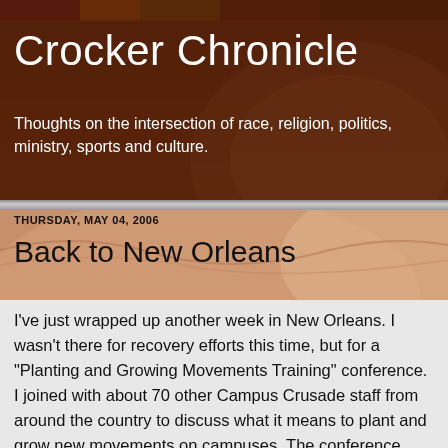Crocker Chronicle
Thoughts on the intersection of race, religion, politics, ministry, sports and culture.
[Figure (photo): Decorative globe/map image used as blog header background]
THURSDAY, MAY 04, 2006
Back to New Orleans
I've just wrapped up another week in New Orleans. I wasn't there for recovery efforts this time, but for a "Planting and Growing Movements Training" conference. I joined with about 70 other Campus Crusade staff from around the country to discuss what it means to plant and grow new movements on campuses. The conference was made up mostly of staff who are new to our Catalytic ministry, which is comprised of staff who lead ministries in metro, state and distance situations. I was able to lead a session on "The